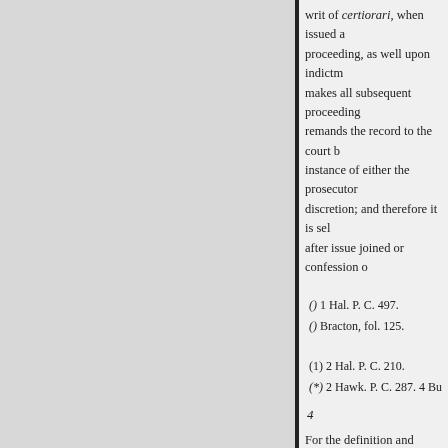writ of certiorari, when issued a proceeding, as well upon indictm makes all subsequent proceeding remands the record to the court b instance of either the prosecutor discretion; and therefore it is sel after issue joined or confession o
() 1 Hal. P. C. 497.
() Bracton, fol. 125.
(1) 2 Hal. P. C. 210.
(*) 2 Hawk. P. C. 287. 4 Bu
4
For the definition and history has a general superintendence ov remove proceedings from them, statutes creating them. 2 Hawk. certiorari cannot be taken away Bla. 231;) and a statute taking aw Rex vs. —, 2 Chitt. R. 136; and s